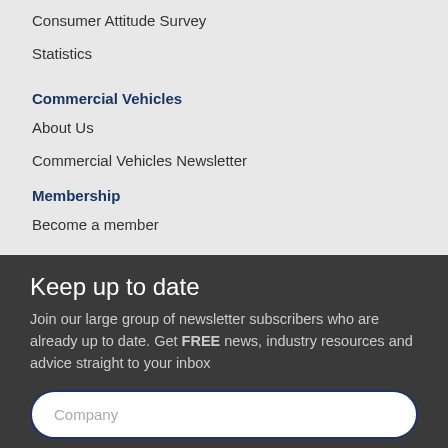Consumer Attitude Survey
Statistics
Commercial Vehicles
About Us
Commercial Vehicles Newsletter
Membership
Become a member
Keep up to date
Join our large group of newsletter subscribers who are already up to date. Get FREE news, industry resources and advice straight to your inbox
Company